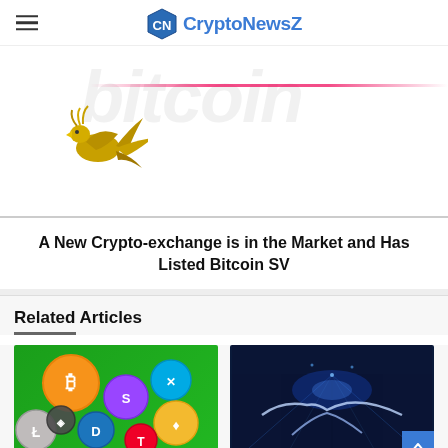CryptoNewsZ
[Figure (illustration): Partial hero image with golden bird/phoenix illustration and faded 'bitcoin' watermark text in background]
A New Crypto-exchange is in the Market and Has Listed Bitcoin SV
Related Articles
[Figure (photo): Colorful 3D crypto coin icons on green background including Bitcoin, Solana, XRP, Binance, Litecoin and others]
Get Busy Buying These
[Figure (photo): Two businessmen shaking hands in blue digital/tech environment]
Lido Finance Partnering With